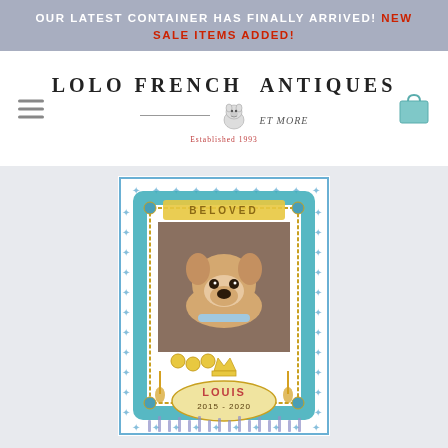OUR LATEST CONTAINER HAS FINALLY ARRIVED! NEW SALE ITEMS ADDED!
[Figure (logo): Lolo French Antiques Et More logo with French bulldog mascot, established 1993]
[Figure (photo): Decorative framed pet memorial portrait titled 'BELOVED' featuring a French Bulldog puppy. Bottom reads 'LOUIS 2015 - 2020' in an ornate blue and gold frame with floral motifs.]